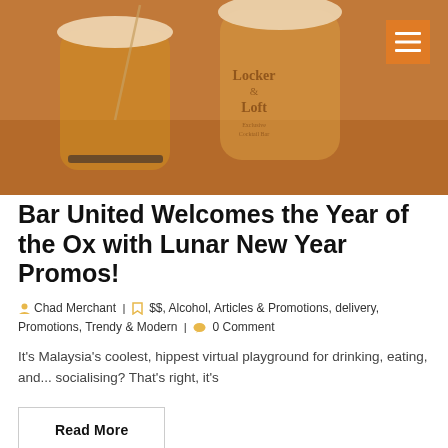[Figure (photo): Two cocktail glasses on a dark coaster with warm amber/orange lighting. The right glass has 'Locker & Loft Exclusive Cocktail Bar' printed on it. Both glasses have a frothy top.]
Bar United Welcomes the Year of the Ox with Lunar New Year Promos!
Chad Merchant  |   $$, Alcohol, Articles & Promotions, delivery, Promotions, Trendy & Modern  |   0 Comment
It's Malaysia's coolest, hippest virtual playground for drinking, eating, and... socialising? That's right, it's
Read More